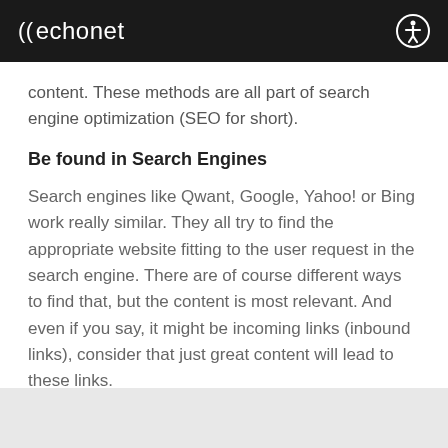((echonet
content. These methods are all part of search engine optimization (SEO for short).
Be found in Search Engines
Search engines like Qwant, Google, Yahoo! or Bing work really similar. They all try to find the appropriate website fitting to the user request in the search engine. There are of course different ways to find that, but the content is most relevant. And even if you say, it might be incoming links (inbound links), consider that just great content will lead to these links.